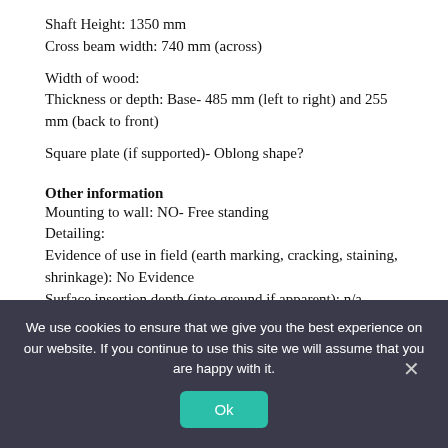Shaft Height: 1350 mm
Cross beam width: 740 mm (across)
Width of wood:
Thickness or depth: Base- 485 mm (left to right) and 255 mm (back to front)
Square plate (if supported)- Oblong shape?
Other information
Mounting to wall: NO- Free standing
Detailing:
Evidence of use in field (earth marking, cracking, staining, shrinkage): No Evidence
Surface insertion depth (into ground if apparent): n/a
Finish (varnish, paint, oiled, unfinished etc): varnished/
We use cookies to ensure that we give you the best experience on our website. If you continue to use this site we will assume that you are happy with it.